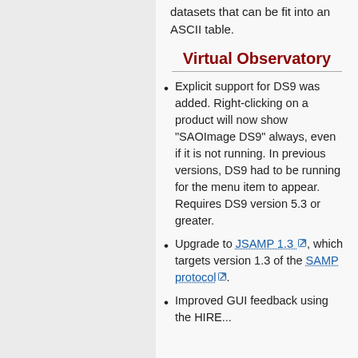applicability to table datasets that can be fit into an ASCII table.
Virtual Observatory
Explicit support for DS9 was added. Right-clicking on a product will now show "SAOImage DS9" always, even if it is not running. In previous versions, DS9 had to be running for the menu item to appear. Requires DS9 version 5.3 or greater.
Upgrade to JSAMP 1.3, which targets version 1.3 of the SAMP protocol.
Improved GUI feedback using the HIRE...